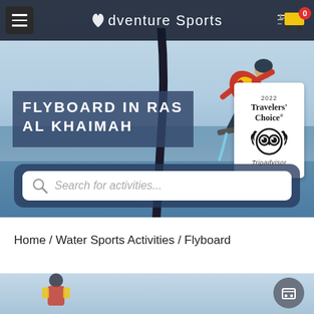Adventure Sports
FLYBOARD IN RAS AL KHAIMAH
[Figure (screenshot): Tripadvisor 2022 Travelers Choice badge with owl logo]
[Figure (photo): Hero banner showing a flyboarder performing aerial maneuver over water with a curved rope/pole, waterfront city skyline in background]
Search for activities...
Home / Water Sports Activities / Flyboard
[Figure (photo): Bottom strip showing partial view of flyboard activity over blue water]